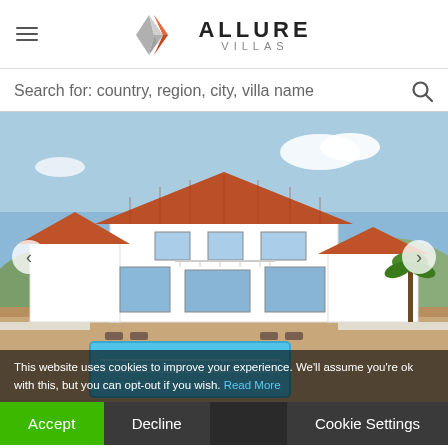[Figure (logo): Allure Villas logo with orange and grey diamond/arrow shapes and text ALLURE VILLAS]
Search for: country, region, city, villa name
[Figure (photo): White villa with red tiled roof, swimming pool in foreground, blue sky background, navigation arrows on sides]
This website uses cookies to improve your experience. We'll assume you're ok with this, but you can opt-out if you wish. Read More
Accept  Decline  Cookie Settings
Placruel Rey · Portugal · Center & Silver Coast